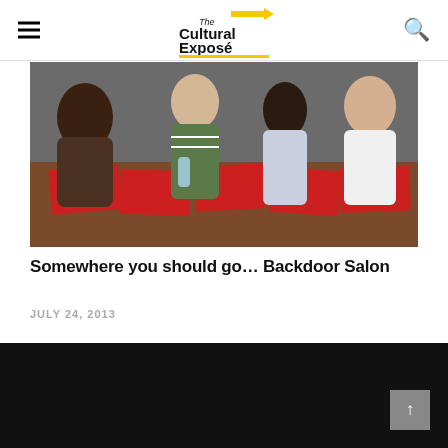The Cultural Exposé
[Figure (photo): Group of young people sitting around a table looking at red brochures/flyers, indoor setting]
Somewhere you should go… Backdoor Salon
JULY 24, 2013